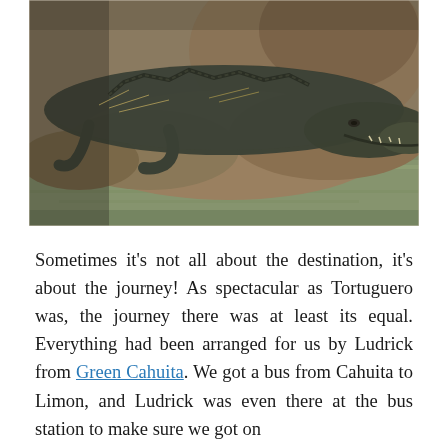[Figure (photo): A large crocodile or caiman resting on muddy rocks at the water's edge, viewed from the side, with its mouth slightly open revealing teeth. The background shows murky brown-green water and rocky terrain.]
Sometimes it's not all about the destination, it's about the journey! As spectacular as Tortuguero was, the journey there was at least its equal. Everything had been arranged for us by Ludrick from Green Cahuita. We got a bus from Cahuita to Limon, and Ludrick was even there at the bus station to make sure we got on